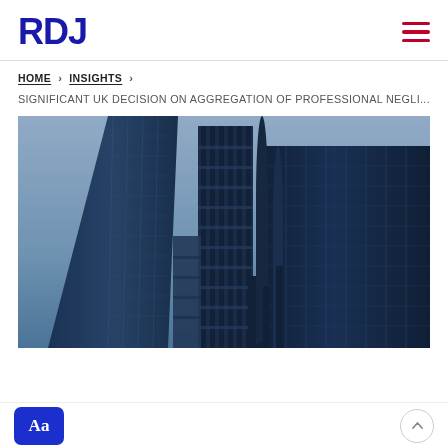RDJ
HOME > INSIGHTS >
SIGNIFICANT UK DECISION ON AGGREGATION OF PROFESSIONAL NEGLI...
[Figure (photo): Upward view of modern glass skyscrapers with steel architectural details, blue-tinted photo of financial district buildings including what appears to be the Lloyd's of London building]
Aa